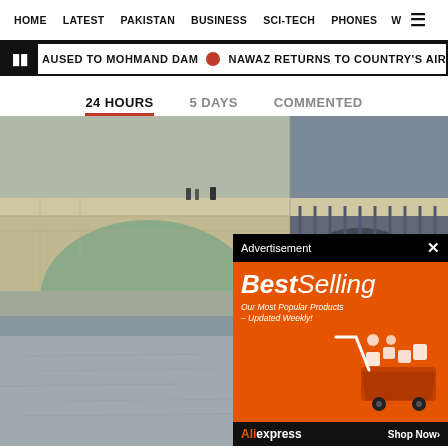HOME   LATEST   PAKISTAN   BUSINESS   SCI-TECH   PHONES   W ☰
AUSED TO MOHMAND DAM  ●  NAWAZ RETURNS TO COUNTRY'S AIRWAVES AFTER T
24 HOURS   5 DAYS   COMMENTED
[Figure (photo): A stone arch bridge with two large arches visible. People are seen walking on top of the bridge wall. Water and concrete are visible below the arches. The lower portion shows a wide, calm water surface reflecting the surroundings.]
Advertisement ✕
[Figure (infographic): AliExpress advertisement banner with orange background showing 'BestSelling' in large white italic text, subtitle 'Our Most Popular Products – Updated Weekly!', shopping cart illustration with various product icons, AliExpress logo and 'Shop Now' button in dark footer bar.]